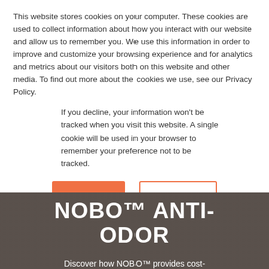This website stores cookies on your computer. These cookies are used to collect information about how you interact with our website and allow us to remember you. We use this information in order to improve and customize your browsing experience and for analytics and metrics about our visitors both on this website and other media. To find out more about the cookies we use, see our Privacy Policy.
If you decline, your information won't be tracked when you visit this website. A single cookie will be used in your browser to remember your preference not to be tracked.
Accept | Decline
[Figure (photo): Background photo of a woman in athletic wear, with overlaid text: NOBO™ ANTI-ODOR with orange underline, and subtitle text 'Discover how NOBO™ provides cost-effective and non-biocidal odor protection to everyday products']
NOBO™ ANTI-ODOR
Discover how NOBO™ provides cost-effective and non-biocidal odor protection to everyday products